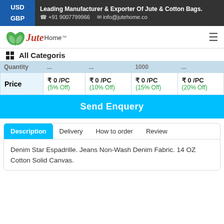USD GBP | Leading Manufacturer & Exporter Of Jute & Cotton Bags. | +91 9007799966 | info@jutehome.co
[Figure (logo): JuteHome logo with green leaves and red italic text]
All Categoris
| Quantity | ... | ... | 1000 | ... |
| --- | --- | --- | --- | --- |
| Price | ₹ 0 /PC (5% Off) | ₹ 0 /PC (10% Off) | ₹ 0 /PC (15% Off) | ₹ 0 /PC (20% Off) |
Send Enquery
Description | Delivery | How to order | Review
Denim Star Espadrille. Jeans Non-Wash Denim Fabric. 14 OZ Cotton Solid Canvas.